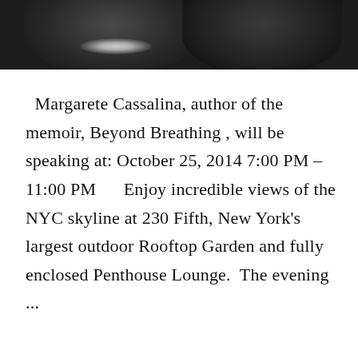[Figure (photo): Dark photo of two people dressed formally, a woman with a sparkly necklace and a man in a tuxedo, cropped to show shoulders and lower faces against a dark background.]
Margarete Cassalina, author of the memoir, Beyond Breathing , will be speaking at: October 25, 2014 7:00 PM – 11:00 PM     Enjoy incredible views of the NYC skyline at 230 Fifth, New York's largest outdoor Rooftop Garden and fully enclosed Penthouse Lounge.  The evening ...